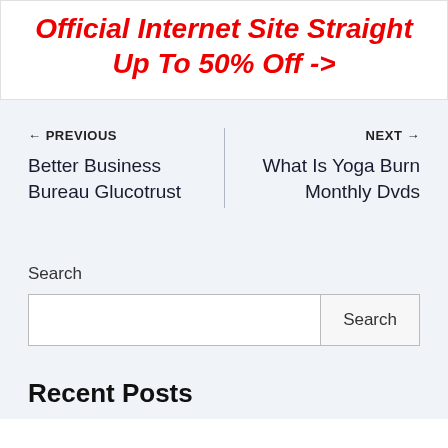Official Internet Site Straight Up To 50% Off ->
← PREVIOUS
Better Business Bureau Glucotrust
NEXT →
What Is Yoga Burn Monthly Dvds
Search
Recent Posts